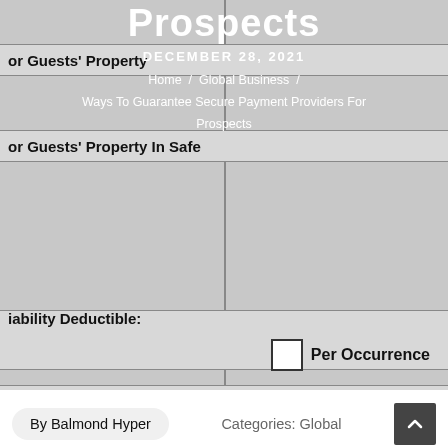Prospects
DECEMBER 28, 2021
Home / Global Business / Ways To Guarantee Secure Payment Providers For Prospects
| Field | Value |
| --- | --- |
| or Guests' Property |  |
| or Guests' Property In Safe |  |
| iability Deductible: | Per Occurrence |
| See Schedule of Forms and Endorsements |  |
| wners Policy: | $350.00 |
By Balmond Hyper    Categories: Global